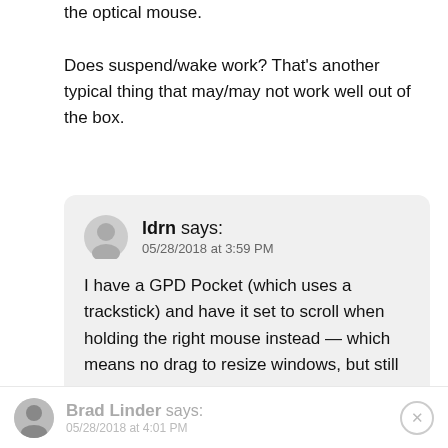the optical mouse.

Does suspend/wake work? That's another typical thing that may/may not work well out of the box.
ldrn says:
05/28/2018 at 3:59 PM

I have a GPD Pocket (which uses a trackstick) and have it set to scroll when holding the right mouse instead — which means no drag to resize windows, but still not bad.
Brad Linder says:
05/28/2018 at 4:01 PM